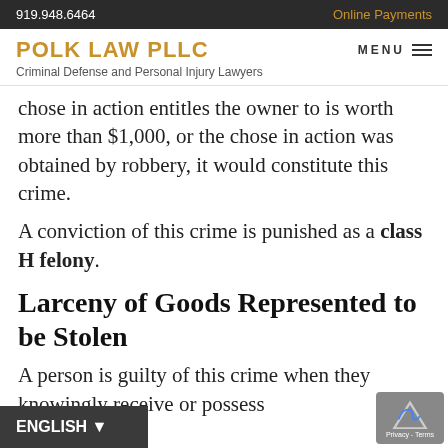919.948.6464 | Online Payments
POLK LAW PLLC
Criminal Defense and Personal Injury Lawyers
chose in action entitles the owner to is worth more than $1,000, or the chose in action was obtained by robbery, it would constitute this crime.
A conviction of this crime is punished as a class H felony.
Larceny of Goods Represented to be Stolen
A person is guilty of this crime when they knowingly receive or possess goods that are in the custody of